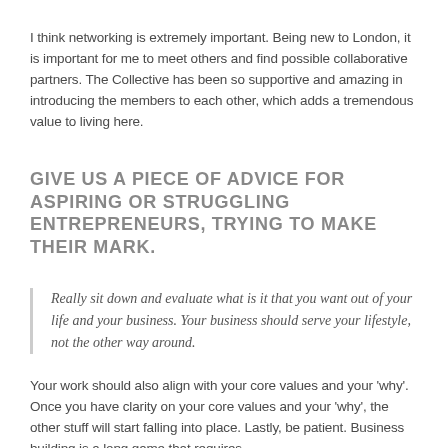I think networking is extremely important. Being new to London, it is important for me to meet others and find possible collaborative partners. The Collective has been so supportive and amazing in introducing the members to each other, which adds a tremendous value to living here.
GIVE US A PIECE OF ADVICE FOR ASPIRING OR STRUGGLING ENTREPRENEURS, TRYING TO MAKE THEIR MARK.
Really sit down and evaluate what is it that you want out of your life and your business. Your business should serve your lifestyle, not the other way around.
Your work should also align with your core values and your 'why'. Once you have clarity on your core values and your 'why', the other stuff will start falling into place. Lastly, be patient. Business building is a long game that requires